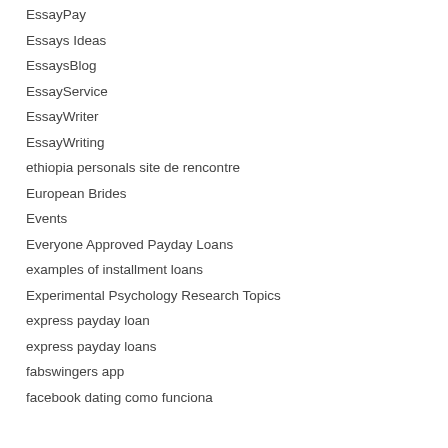EssayPay
Essays Ideas
EssaysBlog
EssayService
EssayWriter
EssayWriting
ethiopia personals site de rencontre
European Brides
Events
Everyone Approved Payday Loans
examples of installment loans
Experimental Psychology Research Topics
express payday loan
express payday loans
fabswingers app
facebook dating como funciona